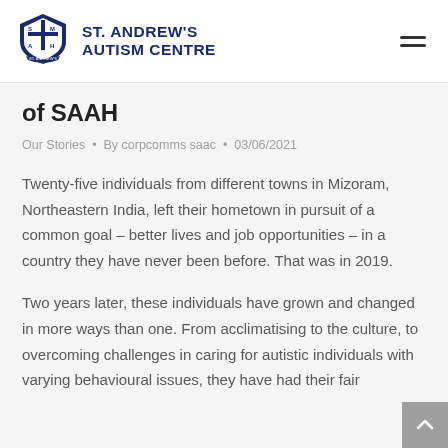[Figure (logo): St. Andrew's Autism Centre shield logo in navy blue with cross and initials S, A, M, H]
ST. ANDREW'S AUTISM CENTRE
of SAAH
Our Stories • By corpcomms saac • 03/06/2021
Twenty-five individuals from different towns in Mizoram, Northeastern India, left their hometown in pursuit of a common goal – better lives and job opportunities – in a country they have never been before. That was in 2019.
Two years later, these individuals have grown and changed in more ways than one. From acclimatising to the culture, to overcoming challenges in caring for autistic individuals with varying behavioural issues, they have had their fair